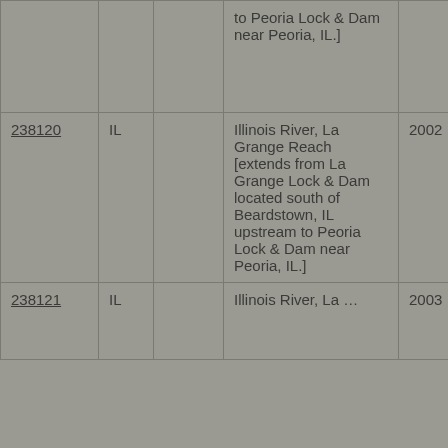|  |  |  | to Peoria Lock & Dam near Peoria, IL.] |  | 07130003... |
| 238120 | IL |  | Illinois River, La Grange Reach [extends from La Grange Lock & Dam located south of Beardstown, IL upstream to Peoria Lock & Dam near Peoria, IL.] | 2002 | 07130003... |
| 238121 | IL |  | Illinois River, La ... | 2003 | 07130003... |